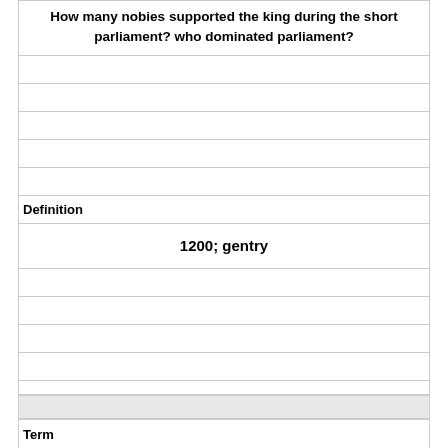How many nobies supported the king during the short parliament? who dominated parliament?
Definition
1200; gentry
Term